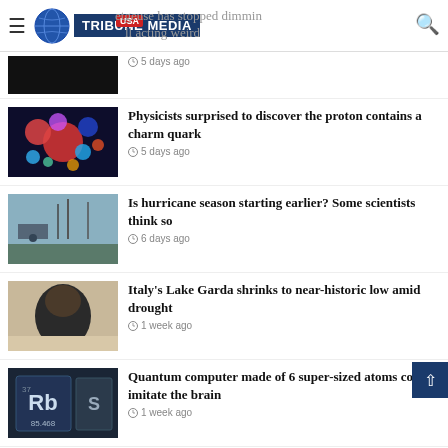USA Tribune Media
Betelgeuse has stopped dimming but is still acting weird
5 days ago
Physicists surprised to discover the proton contains a charm quark
5 days ago
Is hurricane season starting earlier? Some scientists think so
6 days ago
Italy's Lake Garda shrinks to near-historic low amid drought
1 week ago
Quantum computer made of 6 super-sized atoms could imitate the brain
1 week ago
Physicists work out how many moons